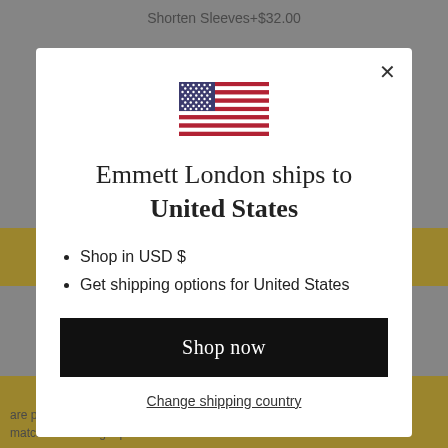Shorten Sleeves+$32.00
[Figure (illustration): US flag icon shown in a modal dialog]
Emmett London ships to United States
Shop in USD $
Get shipping options for United States
Shop now
Change shipping country